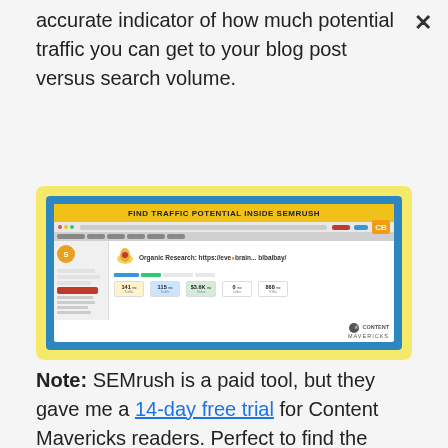accurate indicator of how much potential traffic you can get to your blog post versus search volume.
[Figure (screenshot): Screenshot showing SEMrush interface with headline 'FIND TRAFFIC POTENTIAL INSIDE SEMRUSH' on yellow banner, a browser window displaying SEMrush Organic Research tool for a URL, with metrics: Traffic 141/mo, Traffic 115/mo, Value $3.6K/mo, Links 0/mo, KWs 868/mo. Content Mavericks watermark in bottom right.]
Note: SEMrush is a paid tool, but they gave me a 14-day free trial for Content Mavericks readers. Perfect to find the organic traffic potential for all your topics.